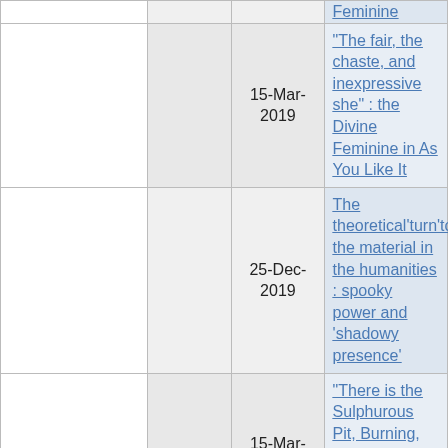|  |  | Date | Title |
| --- | --- | --- | --- |
|  |  |  | Feminine |
|  |  | 15-Mar-2019 | “The fair, the chaste, and inexpressive she” : the Divine Feminine in As You Like It |
|  |  | 25-Dec-2019 | The theoretical’turn’to the material in the humanities : spooky power and ‘shadowy presence’ |
|  |  | 15-Mar-2022 | “There is the Sulphurous Pit, Burning, Scalding, Stench” : King Lear is Climate Fiction |
|  |  |  | “Thou being a goddess, I forswore not |